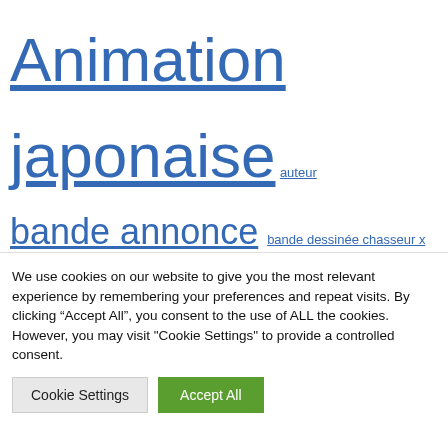Animation japonaise auteur bande annonce bande dessinée chasseur x chasseur box office Chasseur X Chasseur (2011) Vol.4 chasseur × chasseur chiffre ci-joint Cinéma couverture Critique des bandes dessinées divulgacher dvd film générique humour Hunter X Hunter (2011) écriture image
We use cookies on our website to give you the most relevant experience by remembering your preferences and repeat visits. By clicking "Accept All", you consent to the use of ALL the cookies. However, you may visit "Cookie Settings" to provide a controlled consent.